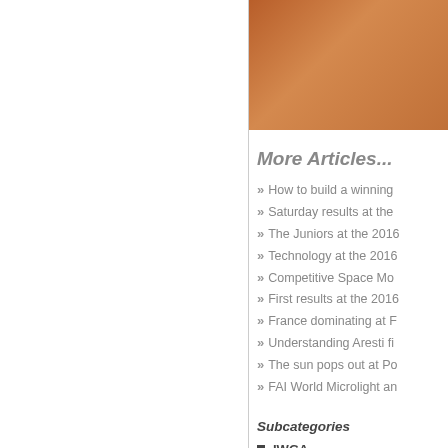[Figure (photo): Person wearing an orange/brown shirt, partially visible, cropped photo in the upper right area]
More Articles...
How to build a winning
Saturday results at the
The Juniors at the 2016
Technology at the 2016
Competitive Space Mo
First results at the 2016
France dominating at F
Understanding Aresti fi
The sun pops out at Po
FAI World Microlight an
Subcategories
IWGA